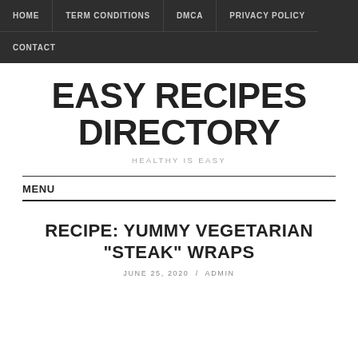HOME  TERM CONDITIONS  DMCA  PRIVACY POLICY  CONTACT
EASY RECIPES DIRECTORY
HEALTHY IS EASY
MENU
RECIPE: YUMMY VEGETARIAN "STEAK" WRAPS
JUNE 25, 2020 / ADMIN